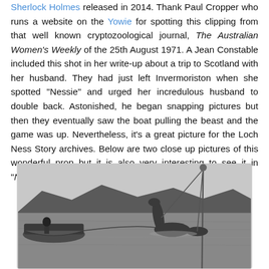Sherlock Holmes released in 2014. Thank Paul Cropper who runs a website on the Yowie for spotting this clipping from that well known cryptozoological journal, The Australian Women's Weekly of the 25th August 1971. A Jean Constable included this shot in her write-up about a trip to Scotland with her husband. They had just left Invermoriston when she spotted "Nessie" and urged her incredulous husband to double back. Astonished, he began snapping pictures but then they eventually saw the boat pulling the beast and the game was up. Nevertheless, it's a great picture for the Loch Ness Story archives. Below are two close up pictures of this wonderful prop but it is also very interesting to see it in "Nessie Sighting" mode.
[Figure (photo): Black and white photograph showing a boat on a loch (lake) with a Loch Ness Monster prop being towed behind it. Hills and mountains are visible in the background. The prop appears as a hump and neck shape rising from the water.]